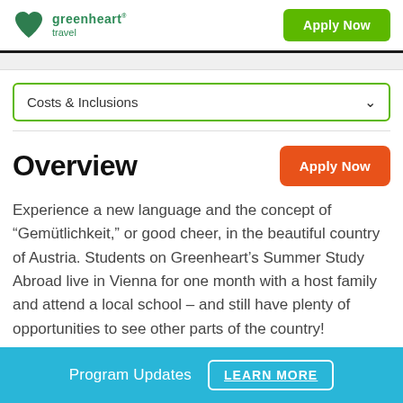greenheart travel | Apply Now
Costs & Inclusions
Overview
Experience a new language and the concept of "Gemütlichkeit," or good cheer, in the beautiful country of Austria. Students on Greenheart's Summer Study Abroad live in Vienna for one month with a host family and attend a local school – and still have plenty of opportunities to see other parts of the country!
Program Updates  LEARN MORE